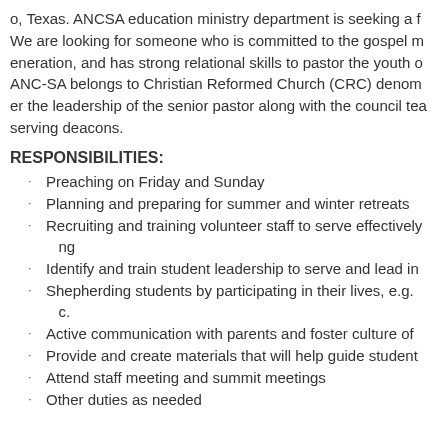All Nations Church at San Antonio (ANC-SA) is a Korean American church located in San Antonio, Texas. ANCSA education ministry department is seeking a full-time youth pastor. We are looking for someone who is committed to the gospel ministry for the next generation, and has strong relational skills to pastor the youth of our church. ANC-SA belongs to Christian Reformed Church (CRC) denomination and operates under the leadership of the senior pastor along with the council team of elders and serving deacons.
RESPONSIBILITIES:
Preaching on Friday and Sunday
Planning and preparing for summer and winter retreats
Recruiting and training volunteer staff to serve effectively in ministering
Identify and train student leadership to serve and lead in ministry
Shepherding students by participating in their lives, e.g. one-on-one, small group, etc.
Active communication with parents and foster culture of discipleship
Provide and create materials that will help guide students
Attend staff meeting and summit meetings
Other duties as needed